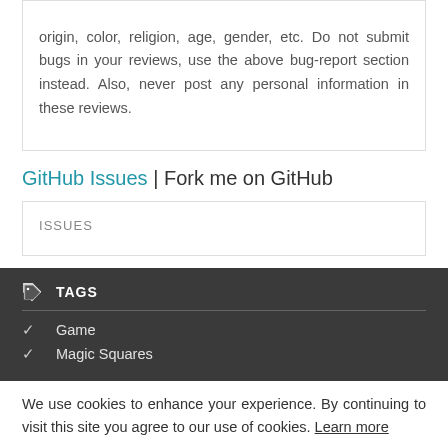origin, color, religion, age, gender, etc. Do not submit bugs in your reviews, use the above bug-report section instead. Also, never post any personal information in these reviews.
GitHub Issues | Fork me on GitHub
ISSUES
TAGS
Game
Magic Squares
We use cookies to enhance your experience. By continuing to visit this site you agree to our use of cookies. Learn more
Got it!